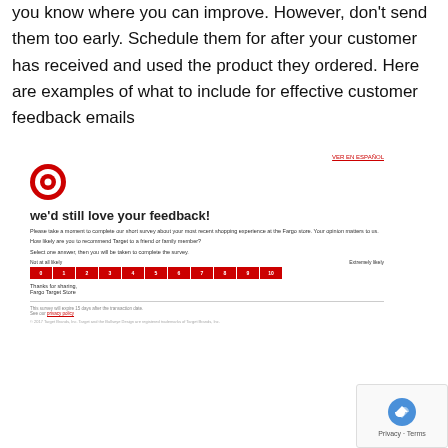you know where you can improve.  However, don't send them too early. Schedule them for after your customer has received and used the product they ordered.  Here are examples of what to include for effective customer feedback emails
[Figure (screenshot): Target customer feedback email survey screenshot showing the Target bullseye logo, 'we'd still love your feedback!' heading, short survey text about Fargo store experience, NPS scale from 0-10 (Not at all likely to Extremely likely) with red boxes, and footer with privacy policy link and copyright.]